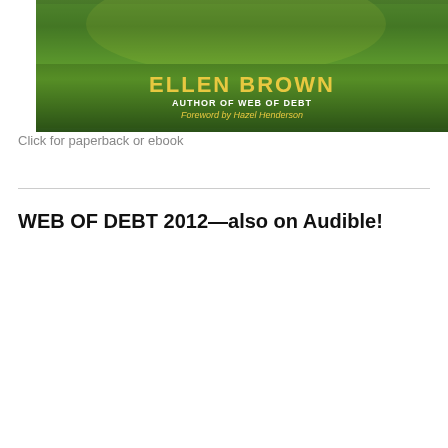[Figure (photo): Book cover showing Ellen Brown as author, with text 'ELLEN BROWN', 'AUTHOR OF WEB OF DEBT', 'Foreword by Hazel Henderson' on a green background with sunlight]
Click for paperback or ebook
WEB OF DEBT 2012—also on Audible!
[Figure (photo): Book cover of 'The Web of Debt: The Shocking Truth About Our Money System And How We Can Break Free', showing the title in bold white text on black background, with a green dollar bill background]